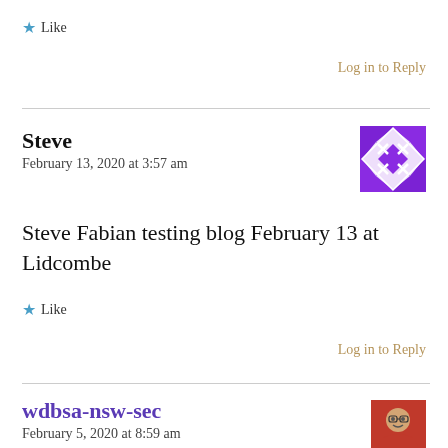★ Like
Log in to Reply
Steve
February 13, 2020 at 3:57 am
Steve Fabian testing blog February 13 at Lidcombe
★ Like
Log in to Reply
wdbsa-nsw-sec
February 5, 2020 at 8:59 am